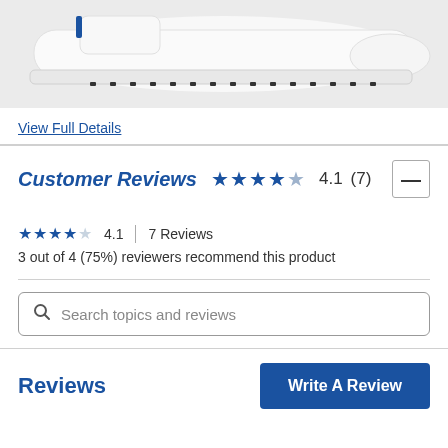[Figure (photo): White sneaker shoe viewed from the side, bottom portion visible against a light gray background]
View Full Details
Customer Reviews  ★★★★☆ 4.1 (7)
★★★★☆  4.1  |  7 Reviews
3 out of 4 (75%) reviewers recommend this product
Search topics and reviews
Reviews
Write A Review